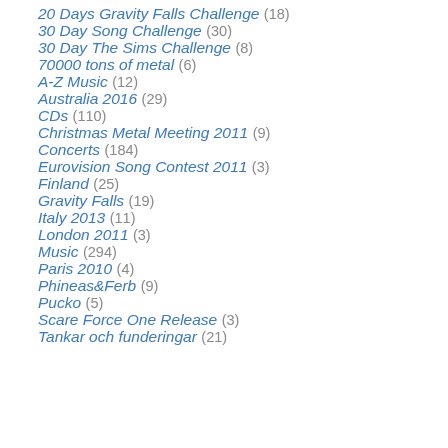20 Days Gravity Falls Challenge (18)
30 Day Song Challenge (30)
30 Day The Sims Challenge (8)
70000 tons of metal (6)
A-Z Music (12)
Australia 2016 (29)
CDs (110)
Christmas Metal Meeting 2011 (9)
Concerts (184)
Eurovision Song Contest 2011 (3)
Finland (25)
Gravity Falls (19)
Italy 2013 (11)
London 2011 (3)
Music (294)
Paris 2010 (4)
Phineas&Ferb (9)
Pucko (5)
Scare Force One Release (3)
Tankar och funderingar (21)